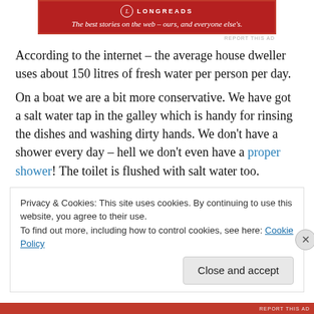[Figure (logo): Longreads banner ad: red background with logo circle and tagline 'The best stories on the web – ours, and everyone else's.']
According to the internet – the average house dweller uses about 150 litres of fresh water per person per day.
On a boat we are a bit more conservative. We have got a salt water tap in the galley which is handy for rinsing the dishes and washing dirty hands. We don't have a shower every day – hell we don't even have a proper shower! The toilet is flushed with salt water too.
Privacy & Cookies: This site uses cookies. By continuing to use this website, you agree to their use.
To find out more, including how to control cookies, see here: Cookie Policy